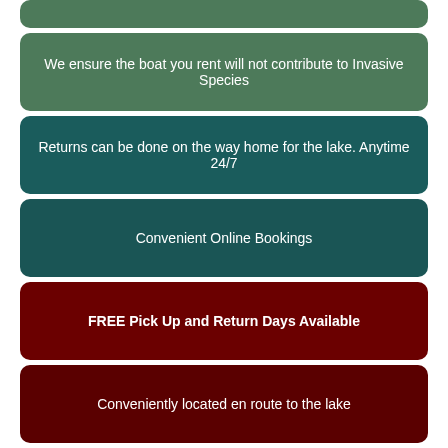We ensure the boat you rent will not contribute to Invasive Species
Returns can be done on the way home for the lake. Anytime 24/7
Convenient Online Bookings
FREE Pick Up and Return Days Available
Conveniently located en route to the lake
Large fleet of boats & trailers for renting to large group
Knowledgeable & Dedicated Staff
BEST longterm-rental DISCOUNT